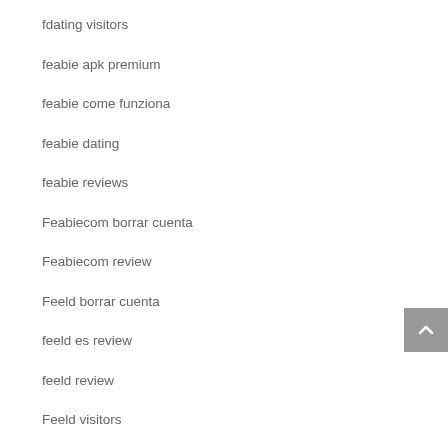fdating visitors
feabie apk premium
feabie come funziona
feabie dating
feabie reviews
Feabiecom borrar cuenta
Feabiecom review
Feeld borrar cuenta
feeld es review
feeld review
Feeld visitors
feeld web
feeld-inceleme visitors
Ferzu apk